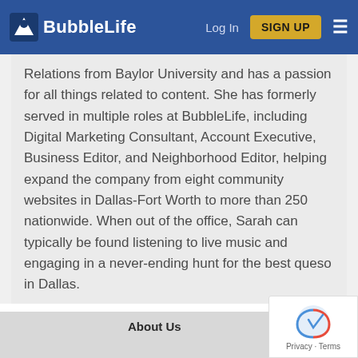BubbleLife | Log In | SIGN UP
Relations from Baylor University and has a passion for all things related to content. She has formerly served in multiple roles at BubbleLife, including Digital Marketing Consultant, Account Executive, Business Editor, and Neighborhood Editor, helping expand the company from eight community websites in Dallas-Fort Worth to more than 250 nationwide. When out of the office, Sarah can typically be found listening to live music and engaging in a never-ending hunt for the best queso in Dallas.
About Us